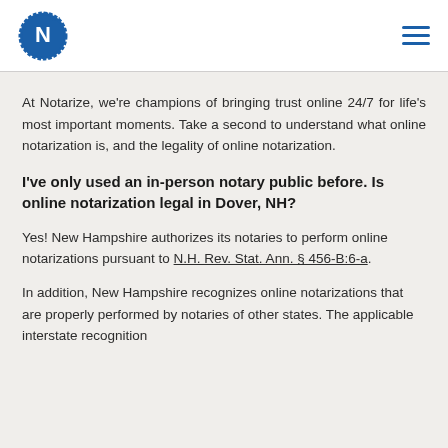Notarize logo and navigation menu
At Notarize, we're champions of bringing trust online 24/7 for life's most important moments. Take a second to understand what online notarization is, and the legality of online notarization.
I've only used an in-person notary public before. Is online notarization legal in Dover, NH?
Yes! New Hampshire authorizes its notaries to perform online notarizations pursuant to N.H. Rev. Stat. Ann. § 456-B:6-a.
In addition, New Hampshire recognizes online notarizations that are properly performed by notaries of other states. The applicable interstate recognition